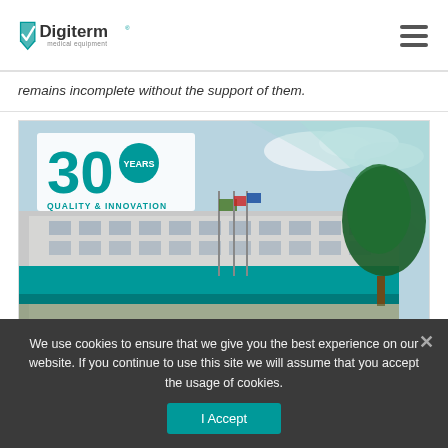Digiterm medical equipment
remains incomplete without the support of them.
[Figure (photo): Digiterm 30 Years Quality & Innovation banner with a photo of the company building featuring teal accents, flags out front, and trees to the right.]
We use cookies to ensure that we give you the best experience on our website. If you continue to use this site we will assume that you accept the usage of cookies.